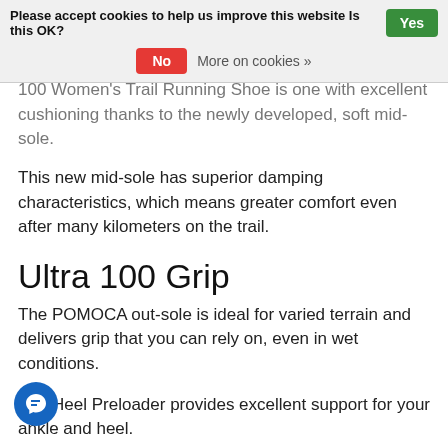Please accept cookies to help us improve this website Is this OK? Yes | No | More on cookies »
100 Women's Trail Running Shoe is one with excellent cushioning thanks to the newly developed, soft mid-sole.
This new mid-sole has superior damping characteristics, which means greater comfort even after many kilometers on the trail.
Ultra 100 Grip
The POMOCA out-sole is ideal for varied terrain and delivers grip that you can rely on, even in wet conditions.
The Heel Preloader provides excellent support for your ankle and heel.
Laces can be stowed under the practical stretch mesh